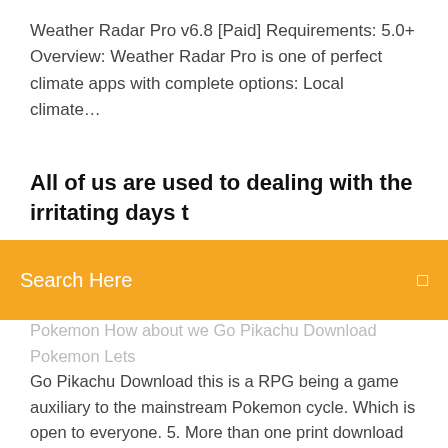Weather Radar Pro v6.8 [Paid] Requirements: 5.0+ Overview: Weather Radar Pro is one of perfect climate apps with complete options: Local climate…
All of us are used to dealing with the irritating days t
Search Here
Pokemon How about we Go Pikachu Download Pokemon Lets Go Pikachu Download this is a RPG being a game auxiliary to the mainstream Pokemon cycle. Which is open to everyone. 5. More than one print download facility for the same movie. These days I will be able to display you the very same manner methods to get deepnude in your Android telephone. It's running and that is the one technique to… VK APK app for the most productive file for Android 4.4 and up VK is the most productive greatest European social neighborhood with more than 1000 million… This walkthrough for Pokemon Light Platinum [Game